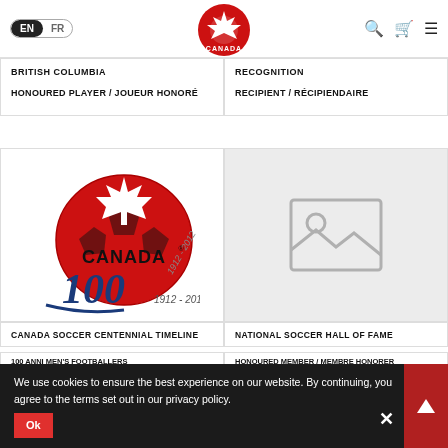[Figure (logo): Canada Soccer official logo - red maple leaf with soccer ball, text CANADA below]
EN | FR
BRITISH COLUMBIA
HONOURED PLAYER / JOUEUR HONORÉ
RECOGNITION
RECIPIENT / RÉCIPIENDAIRE
[Figure (logo): Canada Soccer 100th anniversary logo - Canada Soccer centennial 1912-2012]
[Figure (photo): Placeholder image icon - grey mountain/landscape placeholder]
We use cookies to ensure the best experience on our website. By continuing, you agree to the terms set out in our privacy policy.
Ok
CANADA SOCCER CENTENNIAL TIMELINE
NATIONAL SOCCER HALL OF FAME
100 ANNI MEN'S FOOTBALLERS
HONOURED MEMBER / MEMBRE HONORER